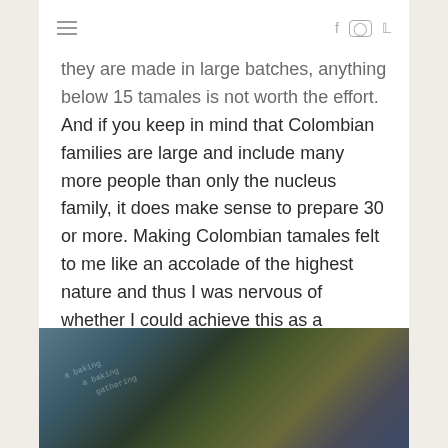≡   f  ○  ℗
they are made in large batches, anything below 15 tamales is not worth the effort. And if you keep in mind that Colombian families are large and include many more people than only the nucleus family, it does make sense to prepare 30 or more. Making Colombian tamales felt to me like an accolade of the highest nature and thus I was nervous of whether I could achieve this as a German who happened to be married to a Colombian.
[Figure (photo): Blurry close-up photo of tamale leaves or wrappings, with a small cursive watermark text overlay]